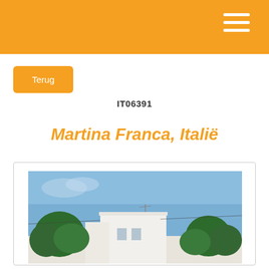Terug
IT06391
Martina Franca, Italië
[Figure (photo): Exterior photo of a white building with flat roof against a blue sky, with green trees on both sides in Martina Franca, Italy]